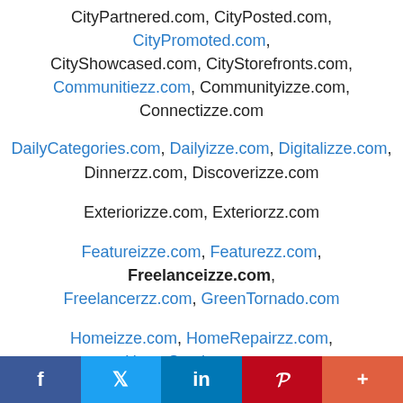CityPartnered.com, CityPosted.com, CityPromoted.com, CityShowcased.com, CityStorefronts.com, Communitiezz.com, Communityizze.com, Connectizze.com
DailyCategories.com, Dailyizze.com, Digitalizze.com, Dinnerzz.com, Discoverizze.com
Exteriorizze.com, Exteriorzz.com
Featureizze.com, Featurezz.com, Freelanceizze.com, Freelancerzz.com, GreenTornado.com
Homeizze.com, HomeRepairzz.com, HomeServicezz.com, Hometownzz.com, Houseizze.com
InformationCEO.com, Informizze.com, Interiorizze.com
Legalzz.com, Lifeizze.com, ListingsCEO.com, Listingzz.com,
f  t  in  P  +